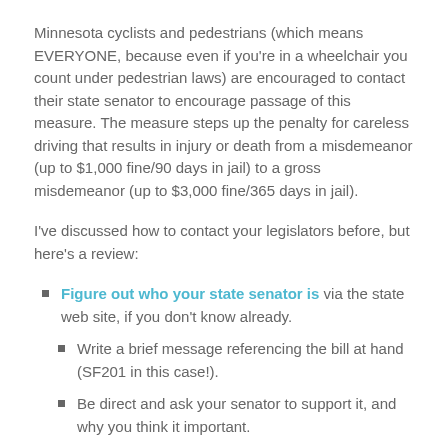Minnesota cyclists and pedestrians (which means EVERYONE, because even if you're in a wheelchair you count under pedestrian laws) are encouraged to contact their state senator to encourage passage of this measure. The measure steps up the penalty for careless driving that results in injury or death from a misdemeanor (up to $1,000 fine/90 days in jail) to a gross misdemeanor (up to $3,000 fine/365 days in jail).
I've discussed how to contact your legislators before, but here's a review:
Figure out who your state senator is via the state web site, if you don't know already.
Write a brief message referencing the bill at hand (SF201 in this case!).
Be direct and ask your senator to support it, and why you think it important.